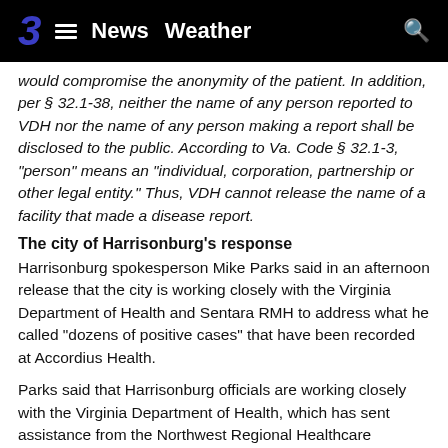3  ≡  News  Weather  🔍
would compromise the anonymity of the patient. In addition, per § 32.1-38, neither the name of any person reported to VDH nor the name of any person making a report shall be disclosed to the public. According to Va. Code § 32.1-3, "person" means an "individual, corporation, partnership or other legal entity." Thus, VDH cannot release the name of a facility that made a disease report.
The city of Harrisonburg's response
Harrisonburg spokesperson Mike Parks said in an afternoon release that the city is working closely with the Virginia Department of Health and Sentara RMH to address what he called "dozens of positive cases" that have been recorded at Accordius Health.
Parks said that Harrisonburg officials are working closely with the Virginia Department of Health, which has sent assistance from the Northwest Regional Healthcare